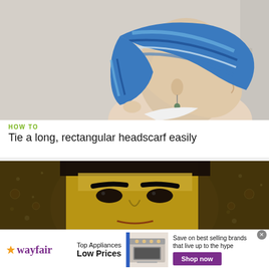[Figure (photo): Side profile of a woman wearing a blue striped headscarf, with dangling earrings, against a white wall background.]
HOW TO
Tie a long, rectangular headscarf easily
[Figure (photo): Close-up of a woman with dark hair and dramatic eye makeup against a gold/glittery background.]
[Figure (infographic): Wayfair advertisement: Top Appliances Low Prices with image of a stove and text 'Save on best selling brands that live up to the hype' with a Shop now button.]